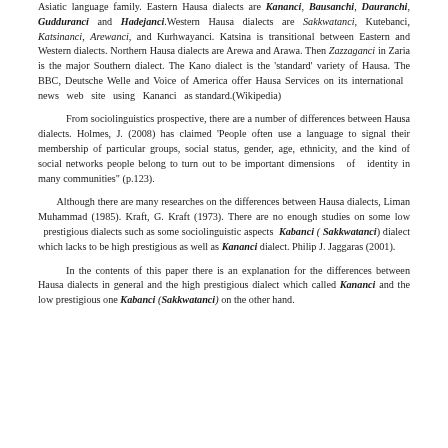Asiatic language family. Eastern Hausa dialects are Kananci, Bausanchi, Dauranchi, Gudduranci and Hadejanci.Western Hausa dialects are Sakkwatanci, Kutebanci, Katsinanci, Arewanci, and Kurhwayanci. Katsina is transitional between Eastern and Western dialects. Northern Hausa dialects are Arewa and Arawa. Then Zazzaganci in Zaria is the major Southern dialect. The Kano dialect is the 'standard' variety of Hausa. The BBC, Deutsche Welle and Voice of America offer Hausa Services on its international news web site using Kananci as standard.(Wikipedia)
From sociolinguistics prospective, there are a number of differences between Hausa dialects. Holmes, J. (2008) has claimed 'People often use a language to signal their membership of particular groups, social status, gender, age, ethnicity, and the kind of social networks people belong to turn out to be important dimensions of identity in many communities' (p.123).
Although there are many researches on the differences between Hausa dialects, Liman Muhammad (1985). Kraft, G. Kraft (1973). There are no enough studies on some low prestigious dialects such as some sociolinguistic aspects Kabanci ( Sakkwatanci) dialect which lacks to be high prestigious as well as Kananci dialect. Philip J. Jaggaras (2001).
In the contents of this paper there is an explanation for the differences between Hausa dialects in general and the high prestigious dialect which called Kananci and the low prestigious one Kabanci (Sakkwatanci) on the other hand.